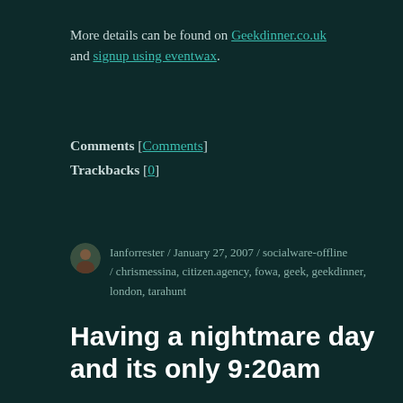More details can be found on Geekdinner.co.uk and signup using eventwax.
Comments [Comments]
Trackbacks [0]
Ianforrester / January 27, 2007 / socialware-offline / chrismessina, citizen.agency, fowa, geek, geekdinner, london, tarahunt
Having a nightmare day and its only 9:20am
It started from early on...